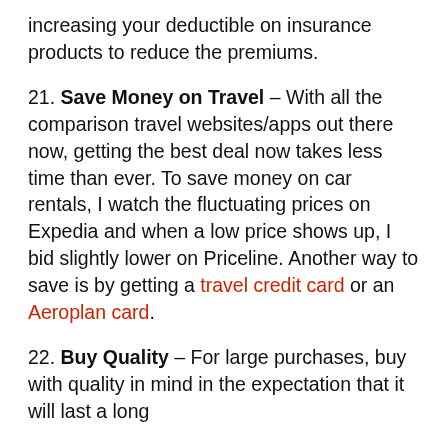increasing your deductible on insurance products to reduce the premiums.
21. Save Money on Travel – With all the comparison travel websites/apps out there now, getting the best deal now takes less time than ever. To save money on car rentals, I watch the fluctuating prices on Expedia and when a low price shows up, I bid slightly lower on Priceline. Another way to save is by getting a travel credit card or an Aeroplan card.
22. Buy Quality – For large purchases, buy with quality in mind in the expectation that it will last a long time. Stick with the brand name and the...